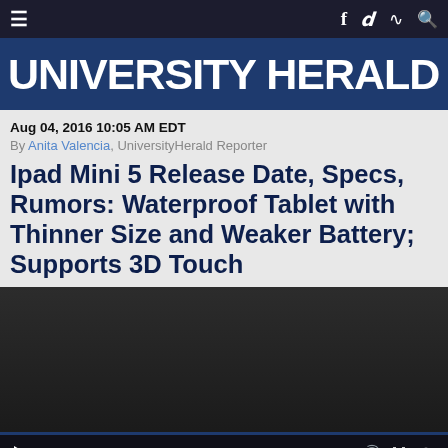UNIVERSITY HERALD
Aug 04, 2016 10:05 AM EDT
By Anita Valencia, UniversityHerald Reporter
Ipad Mini 5 Release Date, Specs, Rumors: Waterproof Tablet with Thinner Size and Weaker Battery; Supports 3D Touch
[Figure (other): Embedded video player with dark background and playback controls showing 0:00]